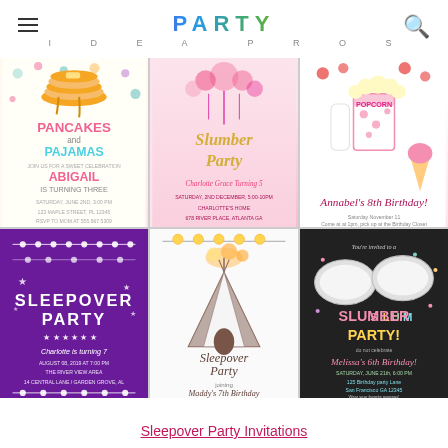PARTY IDEA PROS
[Figure (illustration): Pancakes and Pajamas birthday party invitation - colorful with pancake stack, polka dots, text: PANCAKES and PAJAMAS, ABIGAIL IS TURNING THREE]
[Figure (illustration): Slumber Party invitation - pink floral watercolor with gold script text: Slumber Party, Charlotte Grace Turning 5]
[Figure (illustration): Popcorn and movie theme birthday invitation - pink popcorn box, ice cream cone, text: Annabel's 8th Birthday!]
[Figure (illustration): Sleepover Party invitation - purple background with string lights and stars, text: SLEEPOVER PARTY, Charlotte is turning 7]
[Figure (illustration): Sleepover Party boho invitation - teepee with feathers and string lights, text: Sleepover Party, Maddy's 7th Birthday]
[Figure (illustration): Slumber Party chalkboard invitation - dark background with pillows and confetti, colorful text: SLUMBER PARTY!, Melissa's 6th Birthday!]
Sleepover Party Invitations